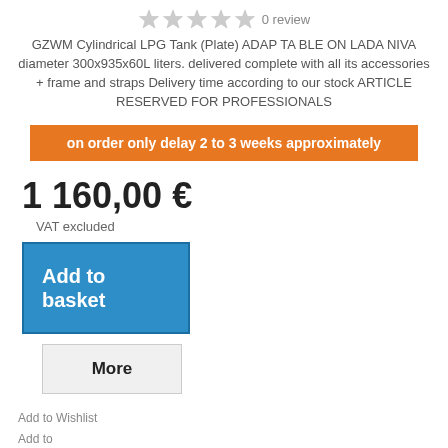[Figure (other): Five empty star rating icons followed by '0 review' text]
GZWM Cylindrical LPG Tank (Plate) ADAP TA BLE ON LADA NIVA diameter 300x935x60L liters. delivered complete with all its accessories + frame and straps Delivery time according to our stock ARTICLE RESERVED FOR PROFESSIONALS
on order only delay 2 to 3 weeks approximately
1 160,00 €
VAT excluded
Add to basket
More
Add to Wishlist
Add to Compare